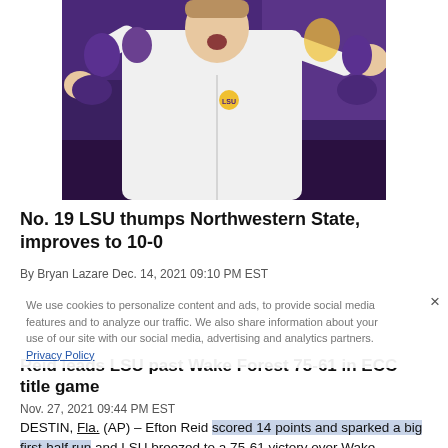[Figure (photo): A basketball coach in a white LSU pullover gestures with both arms raised on the sideline, with a purple and gold crowd visible behind him.]
No. 19 LSU thumps Northwestern State, improves to 10-0
By Bryan Lazare Dec. 14, 2021 09:10 PM EST
We use cookies to personalize content and ads, to provide social media features and to analyze our traffic. We also share information about your use of our site with our social media, advertising and analytics partners. Privacy Policy
Reid leads LSU past Wake Forest 75-61 in ECC title game
Nov. 27, 2021 09:44 PM EST
DESTIN, Fla. (AP) – Efton Reid scored 14 points and sparked a big first-half run and LSU breezed to a 75-61 victory over Wake